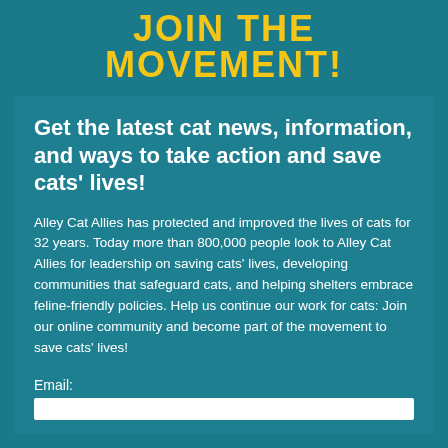JOIN THE MOVEMENT!
Get the latest cat news, information, and ways to take action and save cats' lives!
Alley Cat Allies has protected and improved the lives of cats for 32 years. Today more than 800,000 people look to Alley Cat Allies for leadership on saving cats' lives, developing communities that safeguard cats, and helping shelters embrace feline-friendly policies. Help us continue our work for cats: Join our online community and become part of the movement to save cats' lives!
Email: